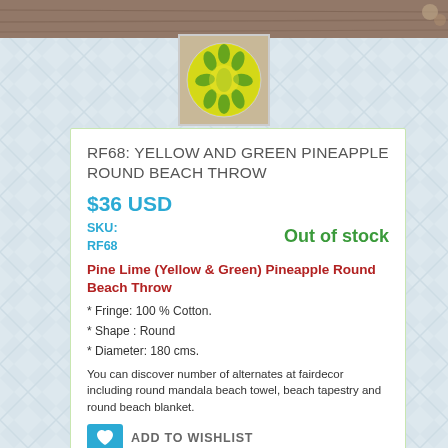[Figure (photo): Top strip photo of wooden floor background]
[Figure (photo): Small thumbnail of yellow and green pineapple round beach throw, circular shaped, viewed from above on wooden surface]
RF68: YELLOW AND GREEN PINEAPPLE ROUND BEACH THROW
$36 USD
SKU: RF68
Out of stock
Pine Lime (Yellow & Green) Pineapple Round Beach Throw
* Fringe: 100 % Cotton.
* Shape : Round
* Diameter: 180 cms.
You can discover number of alternates at fairdecor including round mandala beach towel, beach tapestry and round beach blanket.
ADD TO WISHLIST